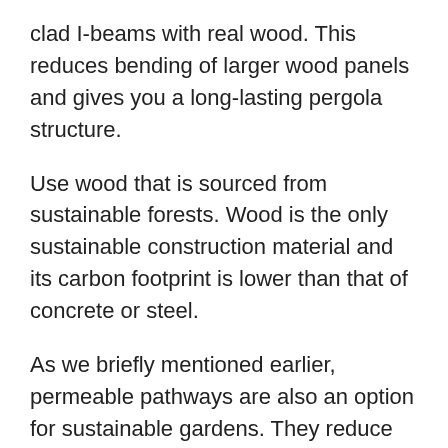clad I-beams with real wood. This reduces bending of larger wood panels and gives you a long-lasting pergola structure.
Use wood that is sourced from sustainable forests. Wood is the only sustainable construction material and its carbon footprint is lower than that of concrete or steel.
As we briefly mentioned earlier, permeable pathways are also an option for sustainable gardens. They reduce water run-off and allow water to seep back into the ground.
This replenishes the groundwater table and reduces the amount of evaporation from your garden.